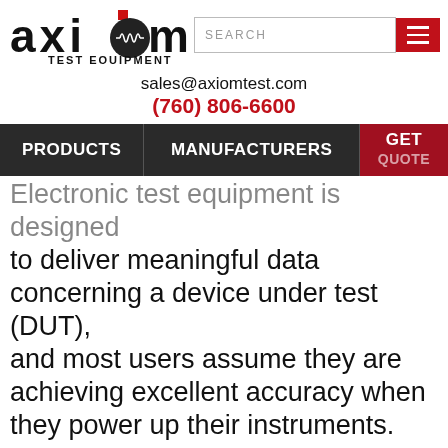[Figure (logo): Axiom Test Equipment logo with circular waveform graphic, search bar, and hamburger menu button]
sales@axiomtest.com
(760) 806-6600
[Figure (screenshot): Navigation bar with PRODUCTS, MANUFACTURERS, and GET QUOTE buttons]
Electronic test equipment is designed to deliver meaningful data concerning a device under test (DUT), and most users assume they are achieving excellent accuracy when they power up their instruments. But what if the test instruments have been sitting on a shelf for some time